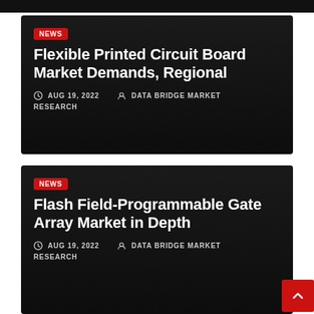[Figure (other): Dark top bar / cropped image at top of page]
NEWS
Flexible Printed Circuit Board Market Demands, Regional
AUG 19, 2022   DATA BRIDGE MARKET RESEARCH
NEWS
Flash Field-Programmable Gate Array Market in Depth
AUG 19, 2022   DATA BRIDGE MARKET RESEARCH